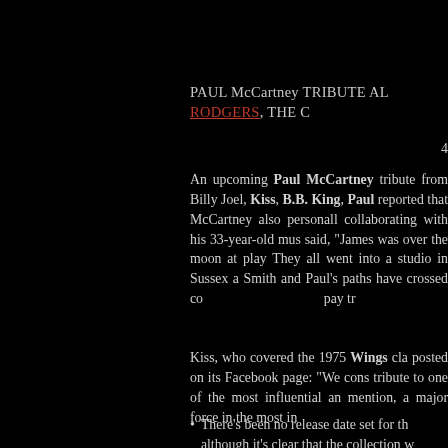PAUL McCARTNEY TRIBUTE AL... RODGERS, THE C...
4
An upcoming Paul McCartney tribute... from Billy Joel, Kiss, B.B. King, Paul... reported that McCartney also personall... collaborating with his 33-year-old mus... said, "James was over the moon at play... They all went into a studio in Sussex a... Smith and Paul's paths have crossed co... pay tr...
Kiss, who covered the 1975 Wings cla... posted on its Facebook page: "We cons... tribute to one of the most influential an... mention, a major force in the most in...
There's been no release date set for th... although it's clear that the collection w...